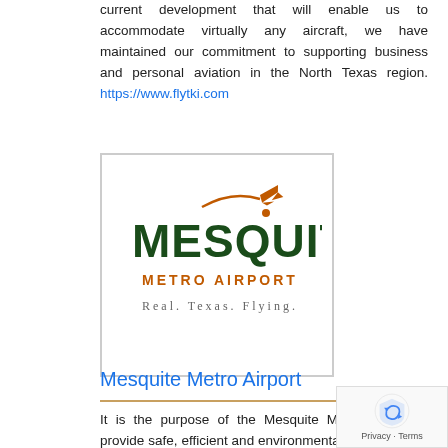current development that will enable us to accommodate virtually any aircraft, we have maintained our commitment to supporting business and personal aviation in the North Texas region. https://www.flytki.com
[Figure (logo): Mesquite Metro Airport logo: large dark green bold text 'MESQUITE' with an orange checkmark and plane graphic above, below it 'METRO AIRPORT' in orange spaced letters, and 'Real. Texas. Flying.' in gray serif text, all inside a light gray border box.]
Mesquite Metro Airport
It is the purpose of the Mesquite Metro Airport to provide safe, efficient and environmentally sensitive air transportation facilities appropriate to the needs of the community. https://www.cityofmesquite.com